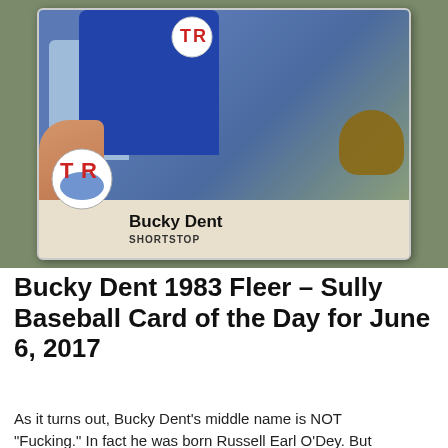[Figure (photo): A hand holding a 1983 Fleer baseball card of Bucky Dent, shortstop for the Texas Rangers. The card shows Bucky Dent in a blue Texas Rangers jersey with TR logo. The card bottom shows his name 'Bucky Dent' and position 'SHORTSTOP'. A TR logo badge is visible on the lower left of the card.]
Bucky Dent 1983 Fleer – Sully Baseball Card of the Day for June 6, 2017
As it turns out, Bucky Dent's middle name is NOT "Fucking." In fact he was born Russell Earl O'Dey. But